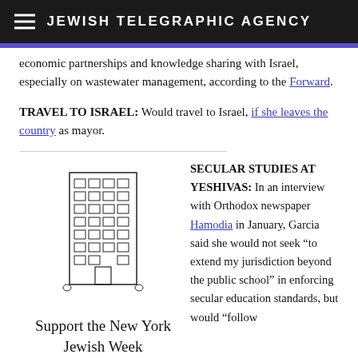JEWISH TELEGRAPHIC AGENCY
economic partnerships and knowledge sharing with Israel, especially on wastewater management, according to the Forward.
TRAVEL TO ISRAEL: Would travel to Israel, if she leaves the country as mayor.
[Figure (illustration): Line drawing illustration of a tall multi-story building]
Support the New York Jewish Week
SECULAR STUDIES AT YESHIVAS: In an interview with Orthodox newspaper Hamodia in January, Garcia said she would not seek “to extend my jurisdiction beyond the public school” in enforcing secular education standards, but would “follow